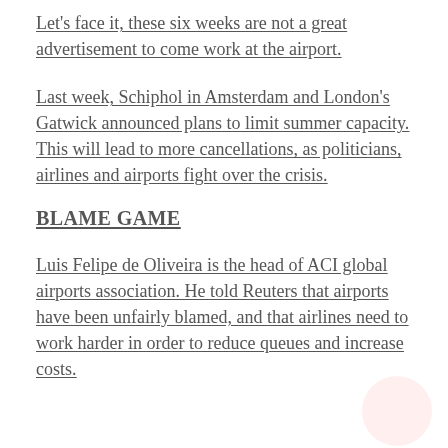Let's face it, these six weeks are not a great advertisement to come work at the airport.
Last week, Schiphol in Amsterdam and London's Gatwick announced plans to limit summer capacity. This will lead to more cancellations, as politicians, airlines and airports fight over the crisis.
BLAME GAME
Luis Felipe de Oliveira is the head of ACI global airports association. He told Reuters that airports have been unfairly blamed, and that airlines need to work harder in order to reduce queues and increase costs.